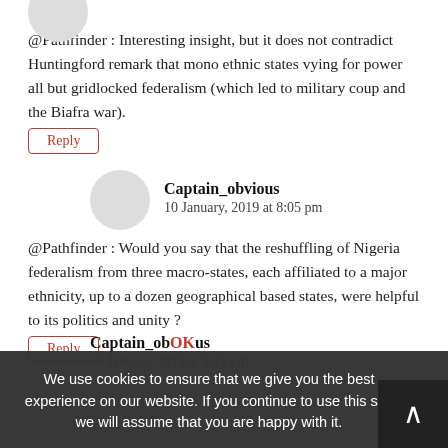@Pathfinder : Interesting insight, but it does not contradict Huntingford remark that mono ethnic states vying for power all but gridlocked federalism (which led to military coup and the Biafra war).
Reply
Captain_obvious
10 January, 2019 at 8:05 pm
@Pathfinder : Would you say that the reshuffling of Nigeria federalism from three macro-states, each affiliated to a major ethnicity, up to a dozen geographical based states, were helpful to its politics and unity ?
Reply
We use cookies to ensure that we give you the best experience on our website. If you continue to use this site we will assume that you are happy with it.
Captain_obvious
10 January, 2019 at 5:15 pm